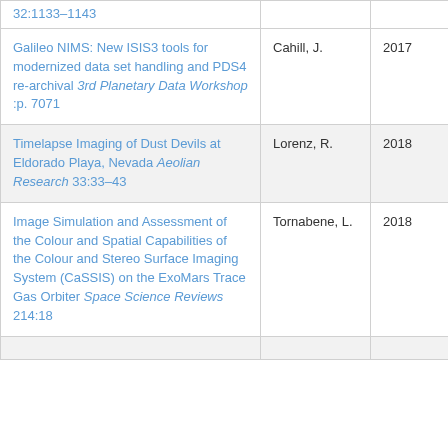| Title | Author | Year |
| --- | --- | --- |
| 32:1133-1143 |  |  |
| Galileo NIMS: New ISIS3 tools for modernized data set handling and PDS4 re-archival 3rd Planetary Data Workshop :p. 7071 | Cahill, J. | 2017 |
| Timelapse Imaging of Dust Devils at Eldorado Playa, Nevada Aeolian Research 33:33-43 | Lorenz, R. | 2018 |
| Image Simulation and Assessment of the Colour and Spatial Capabilities of the Colour and Stereo Surface Imaging System (CaSSIS) on the ExoMars Trace Gas Orbiter Space Science Reviews 214:18 | Tornabene, L. | 2018 |
| [partial row bottom] |  |  |